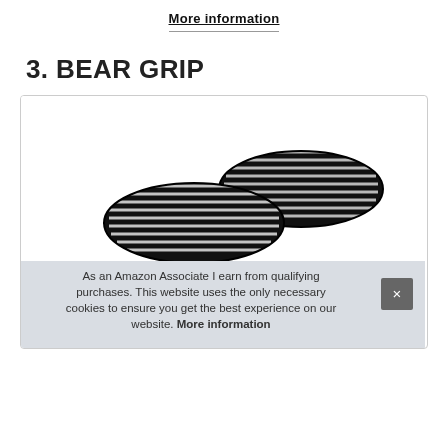More information
3. BEAR GRIP
[Figure (photo): Product photo of Bear Grip knee wraps — black wraps with white striped elastic bands, shown folded/stacked in two pieces against a white background.]
As an Amazon Associate I earn from qualifying purchases. This website uses the only necessary cookies to ensure you get the best experience on our website. More information